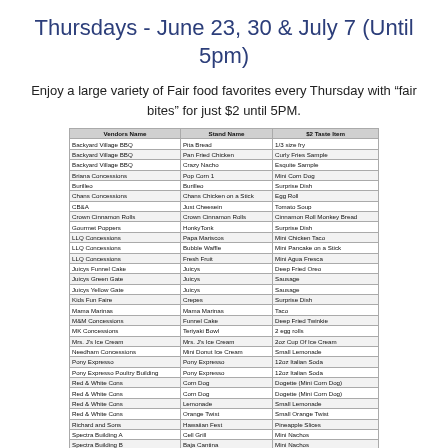Thursdays - June 23, 30 & July 7 (Until 5pm)
Enjoy a large variety of Fair food favorites every Thursday with “fair bites” for just $2 until 5PM.
| Vendors Name | Stand Name | $2 Taste Item |
| --- | --- | --- |
| Backyard Village BBQ | Pita Bread | 1/3 size fry |
| Backyard Village BBQ | Pan Fried Chicken | Curly Fries Sample |
| Backyard Village BBQ | Crazy Nacho | Esquite Sample |
| Briana Concessions | Pop Corn 1 | Mini Corn Dog |
| Burilleo | Burilleo | Surprise Dish |
| Chans Concessions | Chans Chicken on a Stick | Egg Roll |
| CB&A | Just Cheesein | Tomato Soup |
| Crown Cinnamon Rolls | Crown Cinnamon Rolls | Cinnamon Roll Monkey Bread |
| Gourmet Poppers | HonkyTonk | Surprise Dish |
| LLQ Concessions | Papa Mariscos | Mini Chicken Taco |
| LLQ Concessions | Bubble Waffle | Mini Pancake on a Stick |
| LLQ Concessions | Fresh Fruit | Mini Agua Fresca |
| Juicys Funnel Cake | Juicys | Deep Fried Oreo |
| Juicys Green Gate | Juicys | Sausage |
| Juicys Yellow Gate | Juicys | Sausage |
| Kids Fun Faire | Crepes | Surprise Dish |
| Mama Marinas | Mama Marinas | Taco |
| M&M Concessions | Funnel Cake | Deep Fried Twinkie |
| MK Concessions | Teriyaki Bowl | 2 egg rolls |
| Mrs. J's Ice Cream | Mrs. J's Ice Cream | 2oz Cup Of Ice Cream |
| Needham Concessions | Mini Donut Ice Cream | Small Lemonade |
| Pony Expresso | Pony Expresso | 12oz Italian Soda |
| Pony Expresso Poultry Building | Pony Expresso | 12oz Italian Soda |
| Red & White Cons | Corn Dog | Dogette (Mini Corn Dog) |
| Red & White Cons | Corn Dog | Dogette (Mini Corn Dog) |
| Red & White Cons | Lemonade | Small Lemonade |
| Red & White Cons | Orange Twist | Small Orange Twist |
| Richard and Sons | Hawaiian Fest | Pineapple Slices |
| Spectra Building A | Cell Grill | Mini Nachos |
| Spectra Building B | Baja Cantina | Mini Nachos |